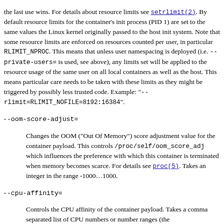the last use wins. For details about resource limits see setrlimit(2). By default resource limits for the container's init process (PID 1) are set to the same values the Linux kernel originally passed to the host init system. Note that some resource limits are enforced on resources counted per user, in particular RLIMIT_NPROC. This means that unless user namespacing is deployed (i.e. --private-users= is used, see above), any limits set will be applied to the resource usage of the same user on all local containers as well as the host. This means particular care needs to be taken with these limits as they might be triggered by possibly less trusted code. Example: "--rlimit=RLIMIT_NOFILE=8192:16384".
--oom-score-adjust=
Changes the OOM ("Out Of Memory") score adjustment value for the container payload. This controls /proc/self/oom_score_adj which influences the preference with which this container is terminated when memory becomes scarce. For details see proc(5). Takes an integer in the range -1000...1000.
--cpu-affinity=
Controls the CPU affinity of the container payload. Takes a comma separated list of CPU numbers or number ranges (the